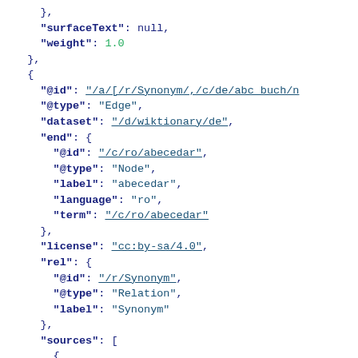JSON code snippet showing ConceptNet edge data with fields: surfaceText: null, weight: 1.0, @id, @type: Edge, dataset, end object with @id, @type, label, language, term fields, license, rel object with @id, @type, label fields, sources array beginning